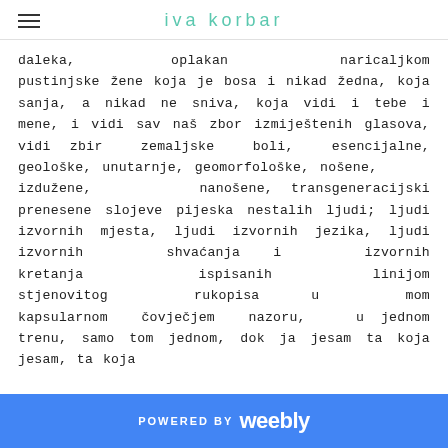iva korbar
daleka, oplakan naricaljkom pustinjske žene koja je bosa i nikad žedna, koja sanja, a nikad ne sniva, koja vidi i tebe i mene, i vidi sav naš zbor izmiještenih glasova, vidi zbir zemaljske boli, esencijalne, geološke, unutarnje, geomorfološke, nošene, izdužene, nanošene, transgeneracijski prenesene slojeve pijeska nestalih ljudi; ljudi izvornih mjesta, ljudi izvornih jezika, ljudi izvornih shvaćanja i izvornih kretanja ispisanih linijom stjenovitog rukopisa u mom kapsularnom čovječjem nazoru, u jednom trenu, samo tom jednom, dok ja jesam ta koja jesam, ta koja
POWERED BY weebly